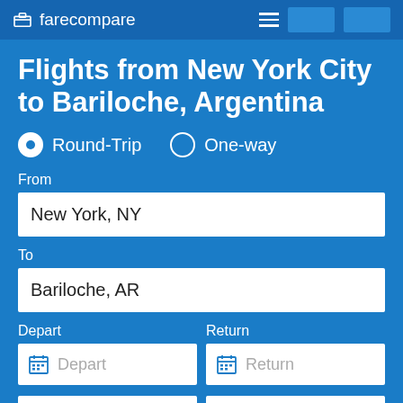farecompare
Flights from New York City to Bariloche, Argentina
Round-Trip  One-way
From
New York, NY
To
Bariloche, AR
Depart
Return
Depart
Return
1 traveler
Nonstop